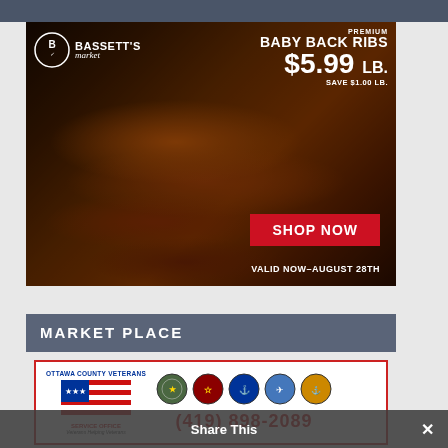[Figure (infographic): Bassett's Market advertisement for Premium Baby Back Ribs at $5.99 lb, save $1.00 lb, valid now through August 28th, with a Shop Now button. Features photo of grilled ribs.]
MARKET PLACE
[Figure (infographic): Ottawa County Veterans Service Office advertisement with military branch seals and phone number (419) 898-2089]